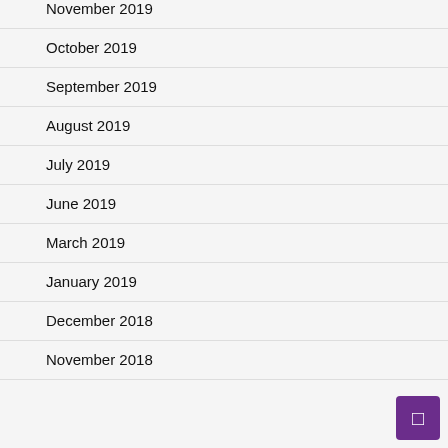November 2019
October 2019
September 2019
August 2019
July 2019
June 2019
March 2019
January 2019
December 2018
November 2018